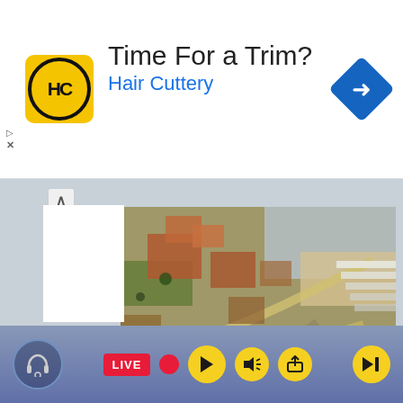[Figure (screenshot): Advertisement banner for Hair Cuttery with HC logo, text 'Time For a Trim?' and 'Hair Cuttery', and a blue navigation arrow icon]
[Figure (photo): Aerial photograph of South West Gran Canaria tourist resort area showing roads, buildings, palm trees, and a beach/pool area]
Mogán Town Hall, responsible for the tourist resorts of South West Gran Canaria, have fined five establishments for administrative infractions they have classified as very serious.
[Figure (screenshot): Bottom media player bar with headphone icon, LIVE badge, record button, play button, volume button, share button, and exit button, on a blue-grey gradient background]